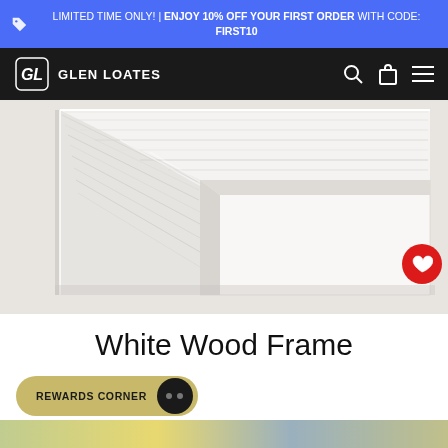LIMITED TIME ONLY! | ENJOY 10% OFF YOUR FIRST ORDER WITH CODE: FIRST10
[Figure (logo): Glen Loates logo with GL monogram in circle and nav icons (search, bag, hamburger menu) on black background]
[Figure (photo): Close-up photo of a white wood picture frame corner showing layered white painted wood molding detail]
White Wood Frame
REWARDS CORNER